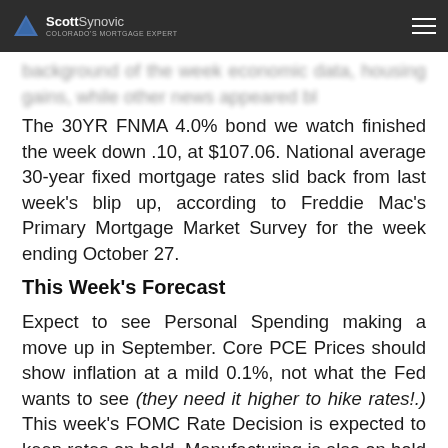Scott Synovic - Colorado's Mortgage Expert
The 30YR FNMA 4.0% bond we watch finished the week down .10, at $107.06. National average 30-year fixed mortgage rates slid back from last week's blip up, according to Freddie Mac's Primary Mortgage Market Survey for the week ending October 27.
This Week's Forecast
Expect to see Personal Spending making a move up in September. Core PCE Prices should show inflation at a mild 0.1%, not what the Fed wants to see (they need it higher to hike rates!.) This week's FOMC Rate Decision is expected to keep rates on hold. Manufacturing is also on hold with the Midwest Chicago PMI down a bit and the national ISM Index up a little although both still in expansion territory. Consumer Non-farm Payrolls are anticipated to...